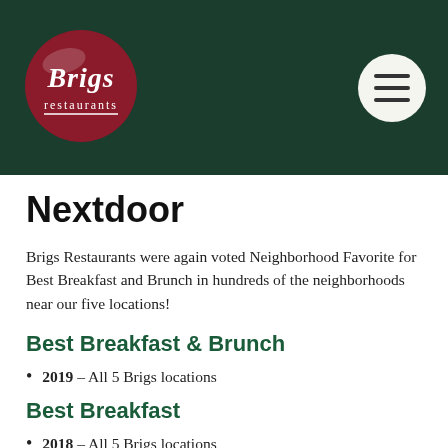[Figure (logo): Brigs restaurants oval logo with dark red background and white script text]
Nextdoor
Brigs Restaurants were again voted Neighborhood Favorite for Best Breakfast and Brunch in hundreds of the neighborhoods near our five locations!
Best Breakfast & Brunch
2019 – All 5 Brigs locations
Best Breakfast
2018 – All 5 Brigs locations
2017 – All 5 Brigs locations